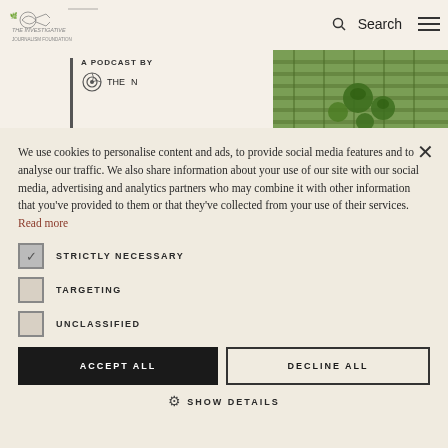[Figure (screenshot): Website navigation bar with logo on the left, search icon and hamburger menu on the right, on a cream/beige background]
[Figure (photo): Aerial view of a palm tree plantation or tropical farmland with green trees and rows]
A PODCAST BY
We use cookies to personalise content and ads, to provide social media features and to analyse our traffic. We also share information about your use of our site with our social media, advertising and analytics partners who may combine it with other information that you've provided to them or that they've collected from your use of their services. Read more
STRICTLY NECESSARY
TARGETING
UNCLASSIFIED
ACCEPT ALL
DECLINE ALL
SHOW DETAILS